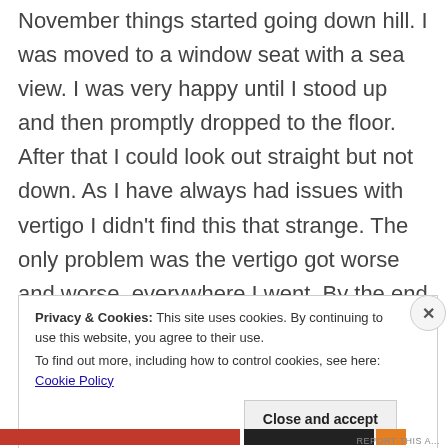November things started going down hill. I was moved to a window seat with a sea view. I was very happy until I stood up and then promptly dropped to the floor. After that I could look out straight but not down. As I have always had issues with vertigo I didn't find this that strange. The only problem was the vertigo got worse and worse, everywhere I went. By the end of the day I had major headaches, I was tired and wiped out from pain. When the headset at work started to hurt I knew that that time had come.
Privacy & Cookies: This site uses cookies. By continuing to use this website, you agree to their use.
To find out more, including how to control cookies, see here: Cookie Policy
Close and accept